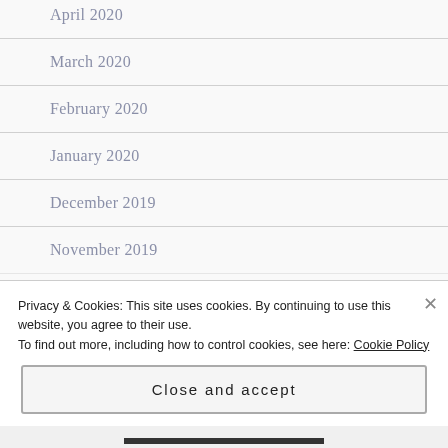April 2020
March 2020
February 2020
January 2020
December 2019
November 2019
October 2019
Privacy & Cookies: This site uses cookies. By continuing to use this website, you agree to their use. To find out more, including how to control cookies, see here: Cookie Policy
Close and accept